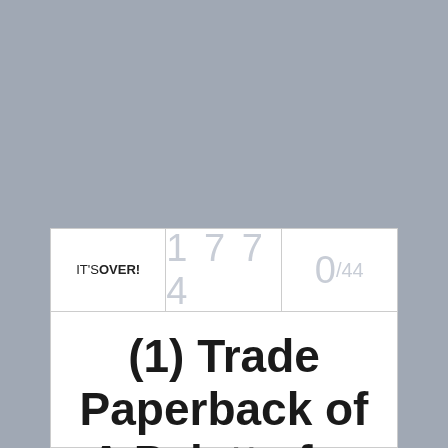| IT'S OVER! | 1 7 7 4 | 0/44 |
| --- | --- | --- |
(1) Trade Paperback of A Palette for Murder by Sybil Johnson (U.S. Only)